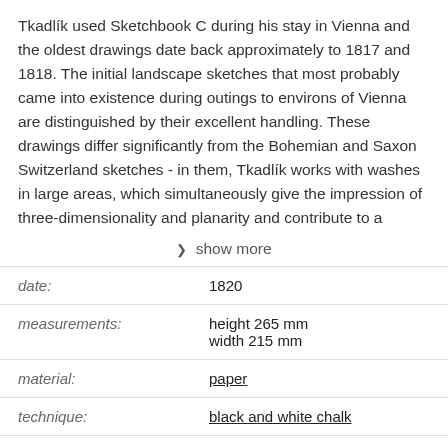Tkadlík used Sketchbook C during his stay in Vienna and the oldest drawings date back approximately to 1817 and 1818. The initial landscape sketches that most probably came into existence during outings to environs of Vienna are distinguished by their excellent handling. These drawings differ significantly from the Bohemian and Saxon Switzerland sketches - in them, Tkadlík works with washes in large areas, which simultaneously give the impression of three-dimensionality and planarity and contribute to a
▾ show more
| Field | Value |
| --- | --- |
| date: | 1820 |
| measurements: | height 265 mm
width 215 mm |
| material: | paper |
| technique: | black and white chalk |
| inventory number: | K 4446 |
| gallery collection: | Collection of Prints and Drawings |